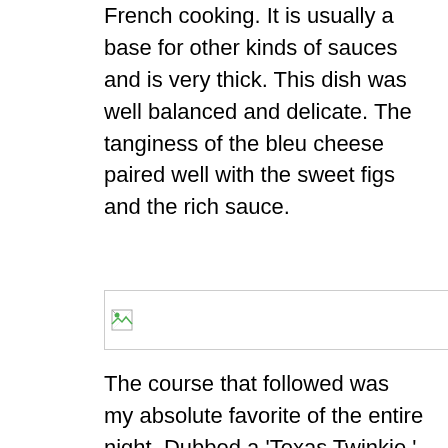French cooking. It is usually a base for other kinds of sauces and is very thick. This dish was well balanced and delicate. The tanginess of the bleu cheese paired well with the sweet figs and the rich sauce.
[Figure (photo): Broken image placeholder — a small broken image icon inside a rectangle border]
The course that followed was my absolute favorite of the entire night. Dubbed a 'Texas Twinkie,' Ross took a jalapeño pepper stuffed with a house-made beer sausage, wrapped it in bacon, roasted it, and served it in a some sort of a divine chocolate